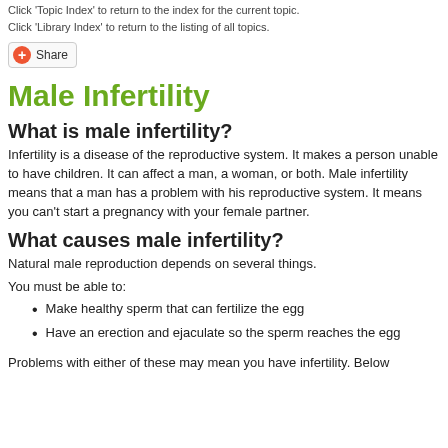Click 'Topic Index' to return to the index for the current topic.
Click 'Library Index' to return to the listing of all topics.
[Figure (other): Share button with red plus icon]
Male Infertility
What is male infertility?
Infertility is a disease of the reproductive system. It makes a person unable to have children. It can affect a man, a woman, or both. Male infertility means that a man has a problem with his reproductive system. It means you can't start a pregnancy with your female partner.
What causes male infertility?
Natural male reproduction depends on several things.
You must be able to:
Make healthy sperm that can fertilize the egg
Have an erection and ejaculate so the sperm reaches the egg
Problems with either of these may mean you have infertility. Below